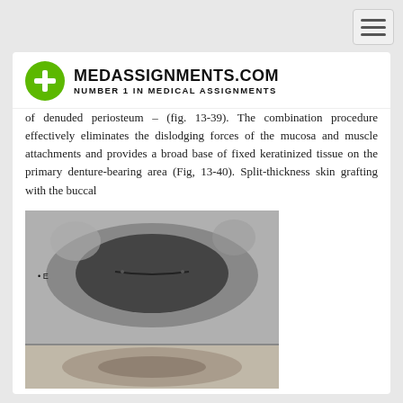[Figure (logo): MedAssignments.com logo with green circle plus sign and bold black text]
of denuded periosteum – (fig. 13-39). The combination procedure effectively eliminates the dislodging forces of the mucosa and muscle attachments and provides a broad base of fixed keratinized tissue on the primary denture-bearing area (Fig, 13-40). Split-thickness skin grafting with the buccal
[Figure (photo): Medical photograph showing a top-down view of a dental/oral surgical site with an oval-shaped keratinized tissue area, grayscale clinical image]